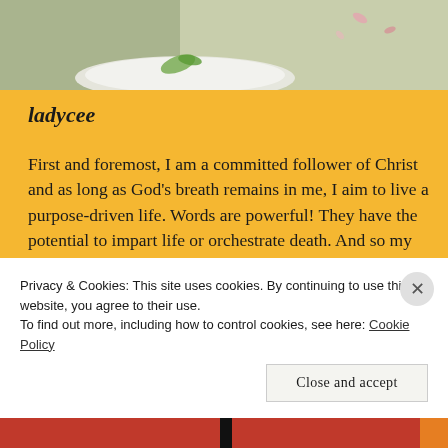[Figure (photo): Top portion of a food/lifestyle photo showing a white plate with green garnish on a light background with petal decorations]
ladycee
First and foremost, I am a committed follower of Christ and as long as God’s breath remains in me, I aim to live a purpose-driven life. Words are powerful! They have the potential to impart life or orchestrate death. And so my heart's desire is for the ultimate Creator and Wordsmith to use my writing gift for his glory, to infuse my words with his anointing, love and power. As a blogger, I write to encourage and inspire both myself
Privacy & Cookies: This site uses cookies. By continuing to use this website, you agree to their use.
To find out more, including how to control cookies, see here: Cookie Policy
Close and accept